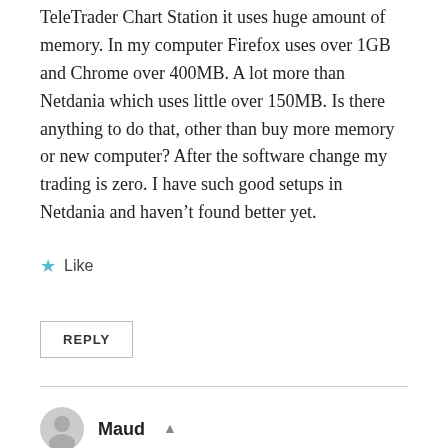TeleTrader Chart Station it uses huge amount of memory. In my computer Firefox uses over 1GB and Chrome over 400MB. A lot more than Netdania which uses little over 150MB. Is there anything to do that, other than buy more memory or new computer? After the software change my trading is zero. I have such good setups in Netdania and haven’t found better yet.
Like
REPLY
Maud
September 2, 2015 at 7:47 am
Hi Chilidogx,
We’re sorry the new charting package takes more